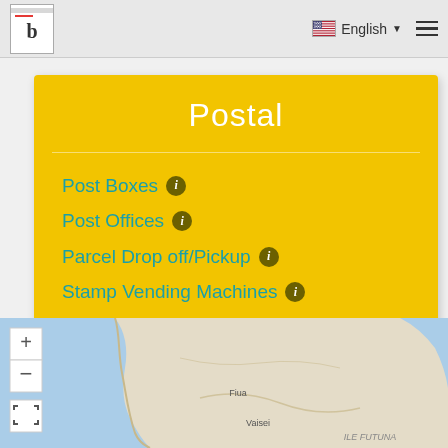b | English ☰
Postal
Post Boxes ℹ
Post Offices ℹ
Parcel Drop off/Pickup ℹ
Stamp Vending Machines ℹ
[Figure (map): Map showing coastal area with labels Fiua, Vaisei, ILE FUTUNA, with zoom controls (+, -, fullscreen)]